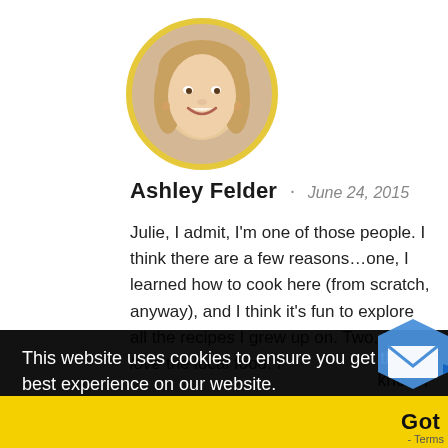[Figure (photo): Circular profile photo of a young woman with blonde hair, smiling, with a gold/yellow circular border]
Ashley Felder · June 24, 2015
Julie, I admit, I'm one of those people. I think there are a few reasons…one, I learned how to cook here (from scratch, anyway), and I think it's fun to explore all the recipes I grew up on. Two, I don't love the local food. I
This website uses cookies to ensure you get the best experience on our website.
Learn more
Got it!
Reply